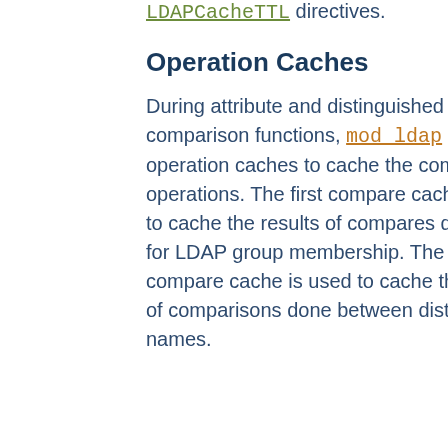The search and bind cache is controlled with the LDAPCacheEntries and LDAPCacheTTL directives.
Operation Caches
During attribute and distinguished name comparison functions, mod_ldap uses two operation caches to cache the compare operations. The first compare cache is used to cache the results of compares done to test for LDAP group membership. The second compare cache is used to cache the results of comparisons done between distinguished names.